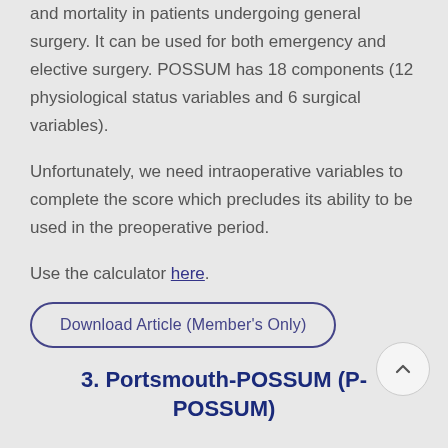and mortality in patients undergoing general surgery. It can be used for both emergency and elective surgery. POSSUM has 18 components (12 physiological status variables and 6 surgical variables).
Unfortunately, we need intraoperative variables to complete the score which precludes its ability to be used in the preoperative period.
Use the calculator here.
Download Article (Member's Only)
3. Portsmouth-POSSUM (P-POSSUM)